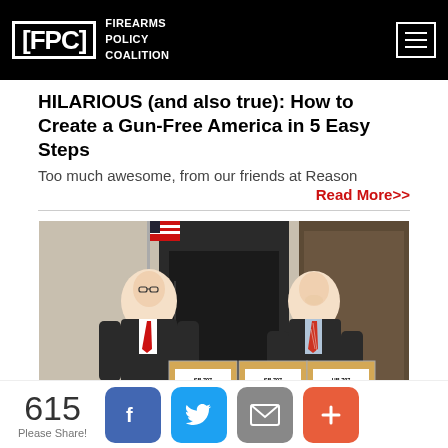[FPC] FIREARMS POLICY COALITION
HILARIOUS (and also true): How to Create a Gun-Free America in 5 Easy Steps
Too much awesome, from our friends at Reason
Read More>>
[Figure (photo): Two men in suits standing behind stacked cardboard boxes labeled with 'SB 707 Veto Requests' and similar labels, in what appears to be a government building hallway with an American flag visible.]
615  Please Share!